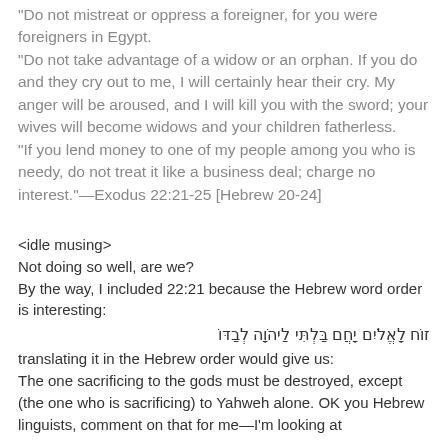“Do not mistreat or oppress a foreigner, for you were foreigners in Egypt. “Do not take advantage of a widow or an orphan. If you do and they cry out to me, I will certainly hear their cry. My anger will be aroused, and I will kill you with the sword; your wives will become widows and your children fatherless. “If you lend money to one of my people among you who is needy, do not treat it like a business deal; charge no interest.”—Exodus 22:21-25 [Hebrew 20-24]
<idle musing>
Not doing so well, are we?
By the way, I included 22:21 because the Hebrew word order is interesting:
זוח לאלאים יחום בלתי ליהוה לבדו
translating it in the Hebrew order would give us:
The one sacrificing to the gods must be destroyed, except (the one who is sacrificing) to Yahweh alone. OK you Hebrew linguists, comment on that for me—I’m looking at